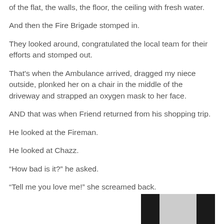of the flat, the walls, the floor, the ceiling with fresh water.
And then the Fire Brigade stomped in.
They looked around, congratulated the local team for their efforts and stomped out.
That's when the Ambulance arrived, dragged my niece outside, plonked her on a chair in the middle of the driveway and strapped an oxygen mask to her face.
AND that was when Friend returned from his shopping trip.
He looked at the Fireman.
He looked at Chazz.
“How bad is it?” he asked.
“Tell me you love me!” she screamed back.
[Figure (photo): A dark and light panel photograph, likely showing a window or door frame with dark frames against a light background.]